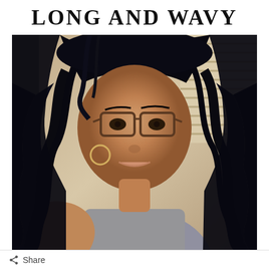LONG AND WAVY
[Figure (photo): Selfie photo of a young woman with long, dark, wavy hair wearing glasses and a gray sleeveless top, taken indoors with window blinds visible in the background.]
Share